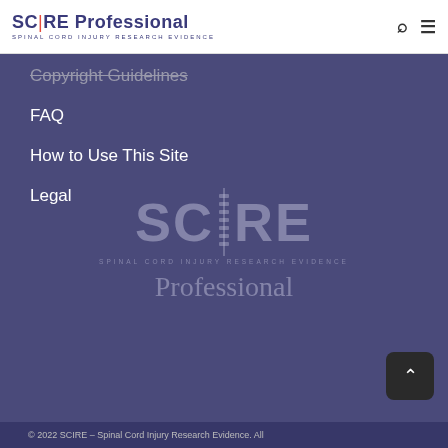SCIRE Professional – SPINAL CORD INJURY RESEARCH EVIDENCE
Copyright Guidelines
FAQ
How to Use This Site
Legal
[Figure (logo): SCIRE Professional logo – large watermark version: SPINAL CORD INJURY RESEARCH EVIDENCE / Professional]
© 2022 SCIRE – Spinal Cord Injury Research Evidence. All